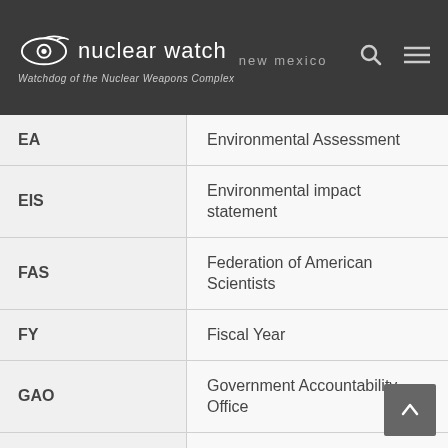nuclear watch new mexico — Watchdog of the Nuclear Weapons Complex
| Abbreviation | Definition |
| --- | --- |
| EA | Environmental Assessment |
| EIS | Environmental impact statement |
| FAS | Federation of American Scientists |
| FY | Fiscal Year |
| GAO | Government Accountability Office |
| GBSD | Ground-based strategic deterrent (latest iteration of ground-based ICBM) |
| HEU | Highly Enriched Uranium |
| HLW | High-level Waste |